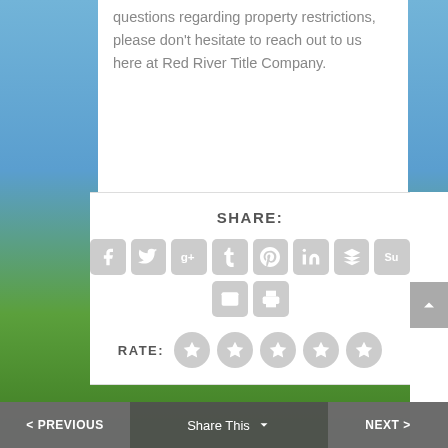questions regarding property restrictions, please don't hesitate to reach out to us here at Red River Title Company.
[Figure (screenshot): Social share buttons section with icons for Facebook, Twitter, Google+, Tumblr, Pinterest, LinkedIn, Buffer, StumbleUpon, Email, and Print. Below is a RATE section with 5 star rating circles. At the bottom is a navigation bar with PREVIOUS, Share This, and NEXT buttons.]